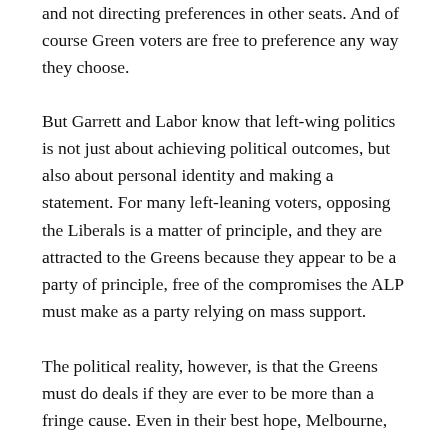and not directing preferences in other seats. And of course Green voters are free to preference any way they choose.
But Garrett and Labor know that left-wing politics is not just about achieving political outcomes, but also about personal identity and making a statement. For many left-leaning voters, opposing the Liberals is a matter of principle, and they are attracted to the Greens because they appear to be a party of principle, free of the compromises the ALP must make as a party relying on mass support.
The political reality, however, is that the Greens must do deals if they are ever to be more than a fringe cause. Even in their best hope, Melbourne,